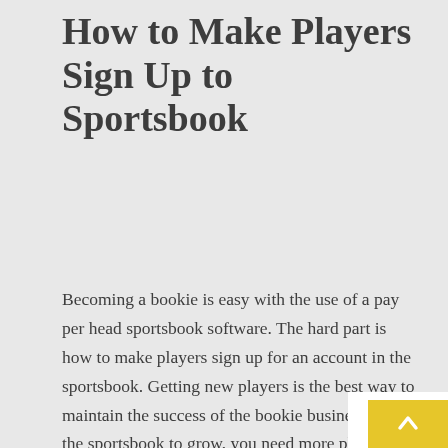How to Make Players Sign Up to Sportsbook
Becoming a bookie is easy with the use of a pay per head sportsbook software. The hard part is how to make players sign up for an account in the sportsbook. Getting new players is the best way to maintain the success of the bookie business. For the sportsbook to grow, you need more players. [...]
MORE